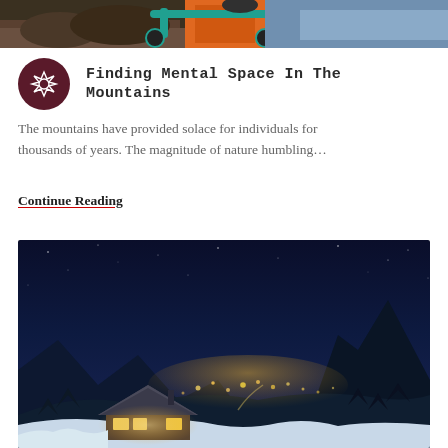[Figure (photo): Top portion of a mountain biking photo showing a bicycle and rider, partially cropped at top of page]
Finding Mental Space In The Mountains
The mountains have provided solace for individuals for thousands of years. The magnitude of nature humbling…
Continue Reading
[Figure (photo): Night time aerial photograph of a snow-covered mountain valley with a lit chalet in foreground, town lights glowing in the valley below, dark blue sky above]